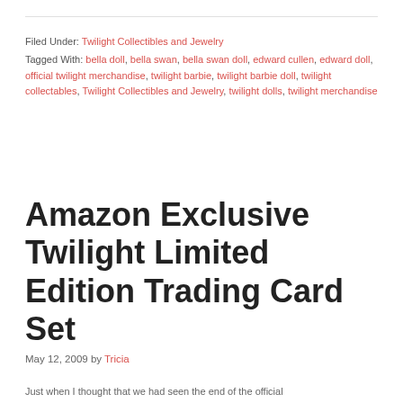Filed Under: Twilight Collectibles and Jewelry
Tagged With: bella doll, bella swan, bella swan doll, edward cullen, edward doll, official twilight merchandise, twilight barbie, twilight barbie doll, twilight collectables, Twilight Collectibles and Jewelry, twilight dolls, twilight merchandise
Amazon Exclusive Twilight Limited Edition Trading Card Set
May 12, 2009 by Tricia
Just when I thought that we had seen the end of the official